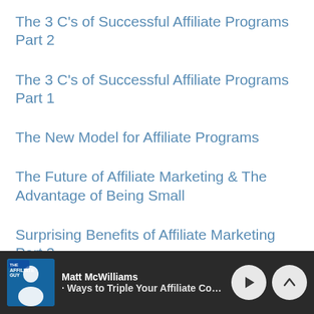The 3 C’s of Successful Affiliate Programs Part 2
The 3 C’s of Successful Affiliate Programs Part 1
The New Model for Affiliate Programs
The Future of Affiliate Marketing & The Advantage of Being Small
Surprising Benefits of Affiliate Marketing Part 3
Matt McWilliams | Ways to Triple Your Affiliate Comm